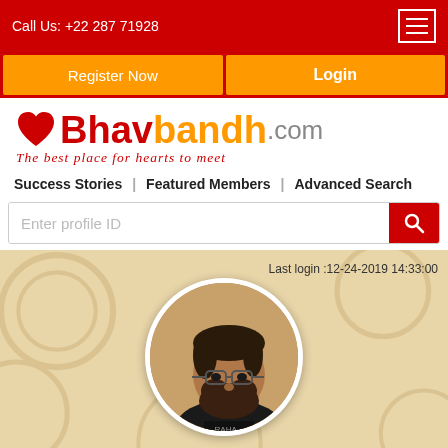Call Us: +22 287 71928
Register Now
Login
[Figure (logo): Bhavbandh.com logo with heart icon, tagline: The best place for hearts to meet]
Success Stories | Featured Members | Advanced Search
Enter profile ID
Last login :12-24-2019 14:33:00
[Figure (photo): Circular profile photo of a bearded man wearing glasses and a black t-shirt]
View Album